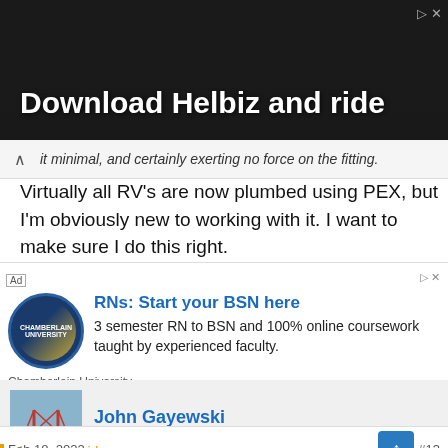[Figure (photo): Advertisement banner: 'Download Helbiz and ride' with dark photographic background showing person with camera]
it minimal, and certainly exerting no force on the fitting.
Virtually all RV's are now plumbed using PEX, but I'm obviously new to working with it. I want to make sure I do this right.
[Figure (other): Advertisement: RNs: Start your BSN here. 3 semester RN to BSN and 100% online coursework taught by experienced faculty. Chamberlain University. Learn More button.]
John Gayewski
In the Trades
Feb 18, 2022
pinecone said: